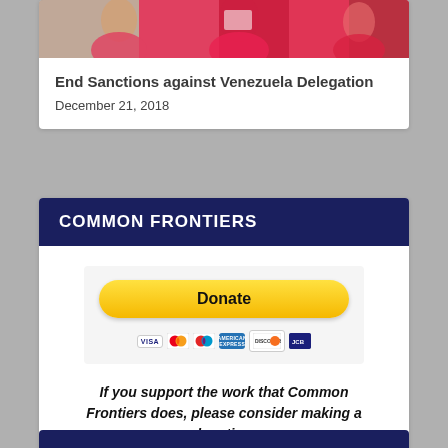[Figure (photo): Photograph of people in red clothing, partially visible at top of card]
End Sanctions against Venezuela Delegation
December 21, 2018
COMMON FRONTIERS
[Figure (other): PayPal Donate button with payment method logos: VISA, Mastercard, Maestro, American Express, Discover, and another card]
If you support the work that Common Frontiers does, please consider making a donation.